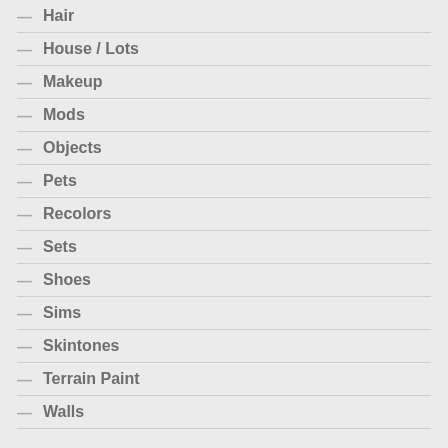Hair
House / Lots
Makeup
Mods
Objects
Pets
Recolors
Sets
Shoes
Sims
Skintones
Terrain Paint
Walls
SIMS COMMENTS